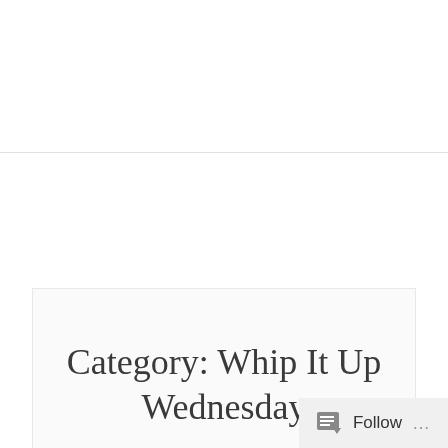≡ MENU
Category: Whip It Up Wednesday
FALL, RECIPES, THANKSGIVING, WHIP IT UP WEDNESDAY
WHIP IT UP WEDNESDAY:
Follow